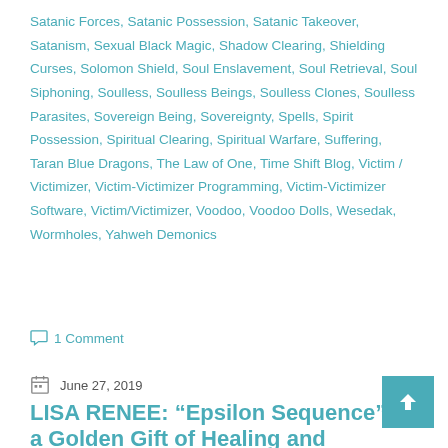Satanic Forces, Satanic Possession, Satanic Takeover, Satanism, Sexual Black Magic, Shadow Clearing, Shielding Curses, Solomon Shield, Soul Enslavement, Soul Retrieval, Soul Siphoning, Soulless, Soulless Beings, Soulless Clones, Soulless Parasites, Sovereign Being, Sovereignty, Spells, Spirit Possession, Spiritual Clearing, Spiritual Warfare, Suffering, Taran Blue Dragons, The Law of One, Time Shift Blog, Victim / Victimizer, Victim-Victimizer Programming, Victim-Victimizer Software, Victim/Victimizer, Voodoo, Voodoo Dolls, Wesedak, Wormholes, Yahweh Demonics
1 Comment
June 27, 2019
LISA RENEE: “Epsilon Sequence” — a Golden Gift of Healing and